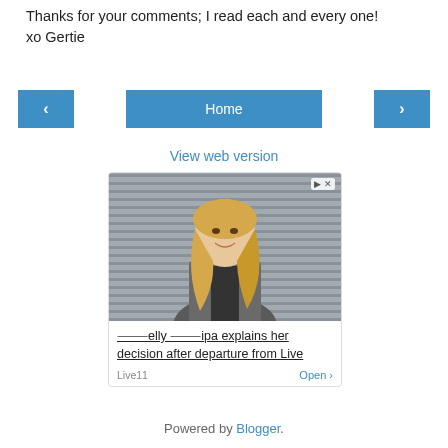Thanks for your comments; I read each and every one! xo Gertie
[Figure (screenshot): Navigation buttons: left arrow, Home button, right arrow]
View web version
[Figure (screenshot): Advertisement showing a blonde woman in a suit with text: Kelly Ripa explains her decision after departure from Live. Source: Live11. Open >]
Powered by Blogger.